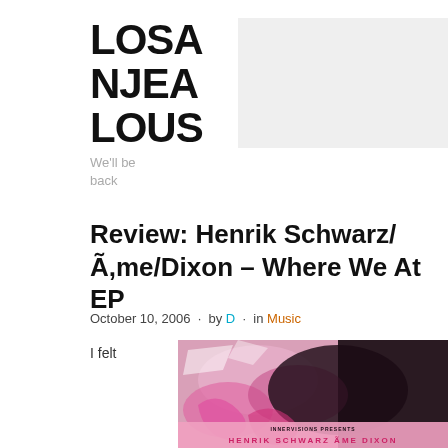LOSANJEALOUS
We'll be back
Review: Henrik Schwarz/Ã,me/Dixon – Where We At EP
October 10, 2006 · by D · in Music
I felt
[Figure (photo): Album cover art for Henrik Schwarz/Ame/Dixon – Where We At EP on Innervisions, pink and black abstract design with text 'INNERVISIONS PRESENTS HENRIK SCHWARZ AME DIXON']